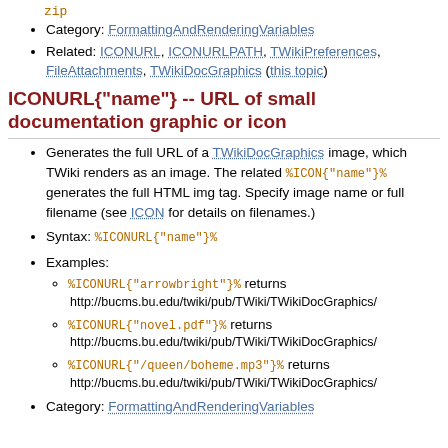zip
Category: FormattingAndRenderingVariables
Related: ICONURL, ICONURLPATH, TWikiPreferences, FileAttachments, TWikiDocGraphics (this topic)
ICONURL{"name"} -- URL of small documentation graphic or icon
Generates the full URL of a TWikiDocGraphics image, which TWiki renders as an image. The related %ICON{"name"}% generates the full HTML img tag. Specify image name or full filename (see ICON for details on filenames.)
Syntax: %ICONURL{"name"}%
Examples:
%ICONURL{"arrowbright"}% returns http://bucms.bu.edu/twiki/pub/TWiki/TWikiDocGraphics/
%ICONURL{"novel.pdf"}% returns http://bucms.bu.edu/twiki/pub/TWiki/TWikiDocGraphics/
%ICONURL{"/queen/boheme.mp3"}% returns http://bucms.bu.edu/twiki/pub/TWiki/TWikiDocGraphics/
Category: FormattingAndRenderingVariables